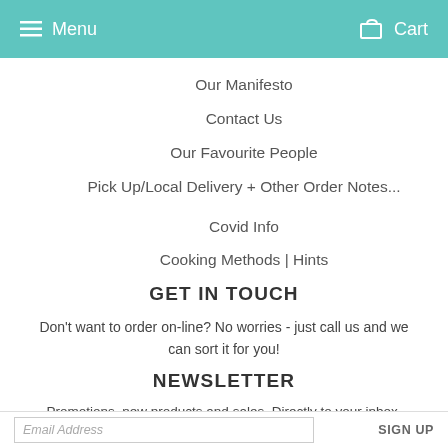Menu  Cart
Our Manifesto
Contact Us
Our Favourite People
Pick Up/Local Delivery + Other Order Notes...
Covid Info
Cooking Methods | Hints
GET IN TOUCH
Don't want to order on-line? No worries - just call us and we can sort it for you!
NEWSLETTER
Promotions, new products and sales. Directly to your inbox.